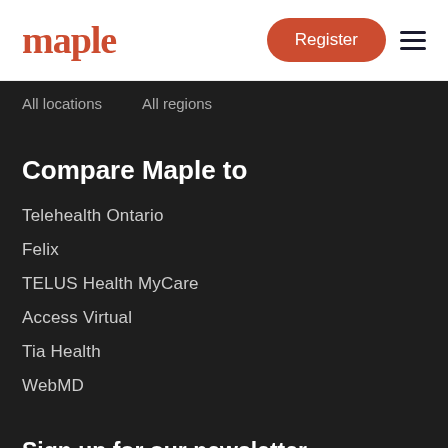maple | Register
All locations
All regions
Compare Maple to
Telehealth Ontario
Felix
TELUS Health MyCare
Access Virtual
Tia Health
WebMD
Sign up for our newsletter